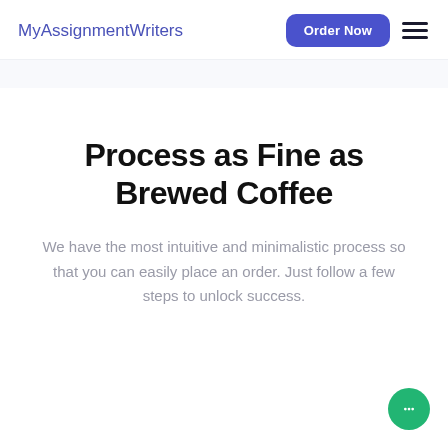MyAssignmentWriters
Process as Fine as Brewed Coffee
We have the most intuitive and minimalistic process so that you can easily place an order. Just follow a few steps to unlock success.